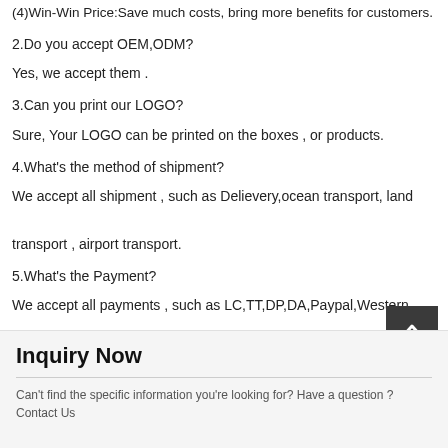(4)Win-Win Price:Save much costs, bring more benefits for customers.
2.Do you accept OEM,ODM?
Yes, we accept them .
3.Can you print our LOGO?
Sure, Your LOGO can be printed on the boxes , or products.
4.What's the method of shipment?
We accept all shipment , such as Delievery,ocean transport, land transport , airport transport.
5.What's the Payment?
We accept all payments , such as LC,TT,DP,DA,Paypal,Western Union,Money Gram.
Inquiry Now
Can't find the specific information you're looking for? Have a question ?
Contact Us